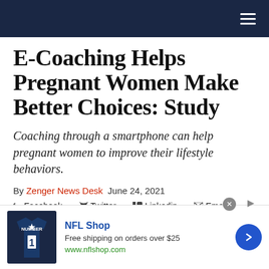Navigation bar
E-Coaching Helps Pregnant Women Make Better Choices: Study
Coaching through a smartphone can help pregnant women to improve their lifestyle behaviors.
By Zenger News Desk  June 24, 2021
Facebook  Twitter  Linkedin  Email
[Figure (photo): Top portion of a photo showing a woman, likely pregnant, looking at a smartphone or device]
[Figure (infographic): NFL Shop advertisement: Free shipping on orders over $25, www.nflshop.com, with Cowboys jersey image and blue arrow button]